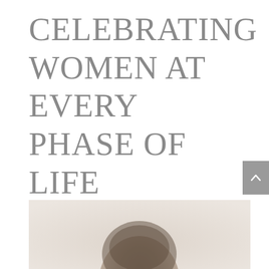CELEBRATING WOMEN AT EVERY PHASE OF LIFE
[Figure (photo): Partial view of a person's head/hair at the bottom of the page, appearing as a soft-focus portrait photo cropped to show only the top of the head]
[Figure (other): Gray scroll-to-top button with upward chevron arrow on the right side]